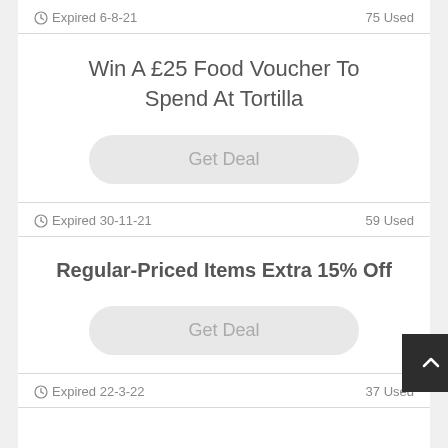Expired 6-8-21   75 Used
Win A £25 Food Voucher To Spend At Tortilla
Get Deal
Expired 30-11-21   59 Used
Regular-Priced Items Extra 15% Off
Get Deal
Expired 22-3-22   37 Used